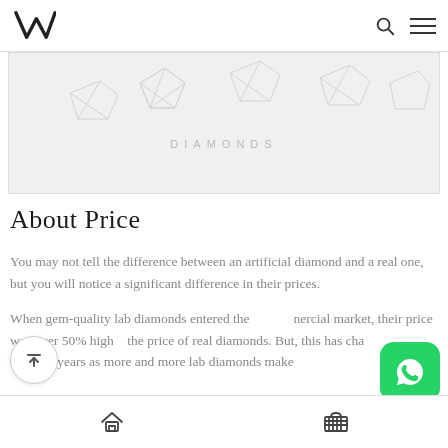Navigation bar with logo, search icon, and menu icon
[Figure (photo): Hero image showing jewelry/diamond items on a light gray background]
About Price
You may not tell the difference between an artificial diamond and a real one, but you will notice a significant difference in their prices.
When gem-quality lab diamonds entered the commercial market, their price was over 50% higher than the price of real diamonds. But, this has changed over the years as more and more lab diamonds make
Home and cart navigation icons at the bottom